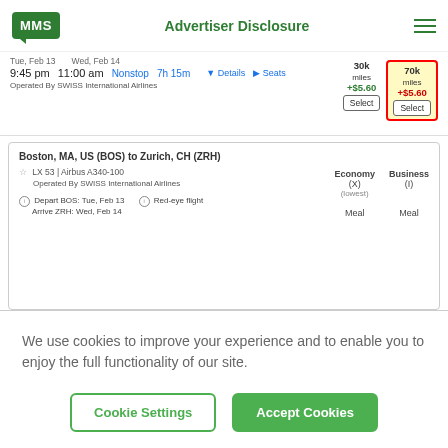MMS | Advertiser Disclosure
[Figure (screenshot): Partial flight search result showing 9:45 pm to 11:00 am Nonstop 7h 15m, with 30k miles +$5.60 and 70k miles +$5.60 price options, Select buttons]
[Figure (screenshot): Flight detail card: Boston, MA, US (BOS) to Zurich, CH (ZRH), LX 53 Airbus A340-100, Operated By SWISS International Airlines, Depart BOS Tue Feb 13, Arrive ZRH Wed Feb 14, Red-eye flight, Economy (X) (lowest) Meal, Business (I) Meal]
Air Canada Aeroplan Charges Less Than United Airlines for the Same Flight!
We use cookies to improve your experience and to enable you to enjoy the full functionality of our site.